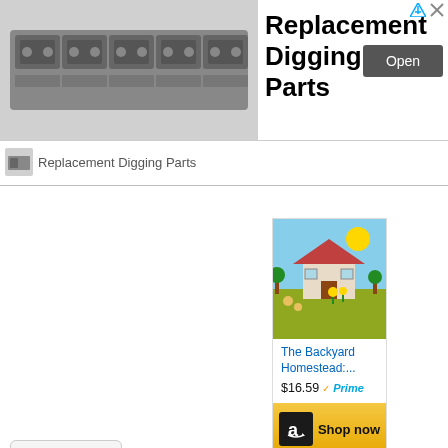[Figure (screenshot): Advertisement banner for Replacement Digging Parts showing chain/bracket hardware image on left, bold title text in center, and Open button on right. Below banner shows small advertiser logo and name.]
[Figure (screenshot): Scroll up chevron button on left side. Amazon product listing card on right showing The Backyard Homestead book cover, price $16.59 with Prime badge, and yellow Shop now button with Amazon logo.]